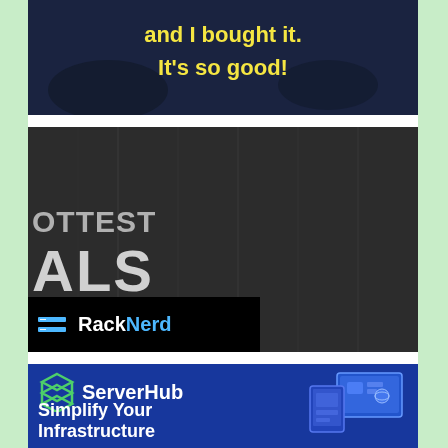[Figure (illustration): Dark background banner with yellow bold text 'and I bought it. It's so good!']
[Figure (illustration): Dark/charcoal textured background banner showing partial text 'HOTTEST' and 'ALS' in large grey letters, with RackNerd logo in black bar at bottom left]
[Figure (illustration): Blue banner with ServerHub logo (green layered icon, white text 'ServerHub') and tagline 'Simplify Your Infrastructure' with device graphic on right]